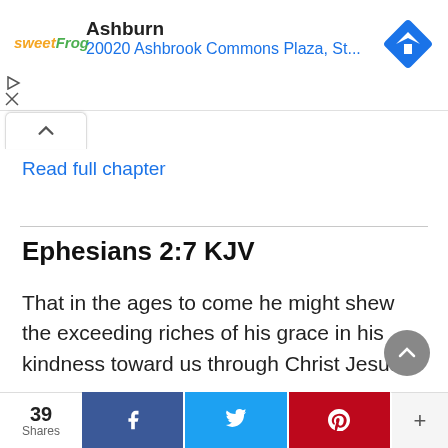[Figure (screenshot): Ad banner for sweetFrog showing location 'Ashburn' and address '20020 Ashbrook Commons Plaza, St...' with navigation icon]
Read full chapter
Ephesians 2:7 KJV
That in the ages to come he might shew the exceeding riches of his grace in his kindness toward us through Christ Jesus.
Read full chapter
39 Shares